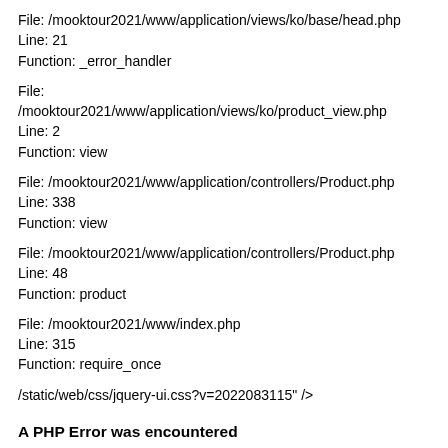File: /mooktour2021/www/application/views/ko/base/head.php
Line: 21
Function: _error_handler
File: /mooktour2021/www/application/views/ko/product_view.php
Line: 2
Function: view
File: /mooktour2021/www/application/controllers/Product.php
Line: 338
Function: view
File: /mooktour2021/www/application/controllers/Product.php
Line: 48
Function: product
File: /mooktour2021/www/index.php
Line: 315
Function: require_once
/static/web/css/jquery-ui.css?v=2022083115" />
A PHP Error was encountered
Severity: Notice